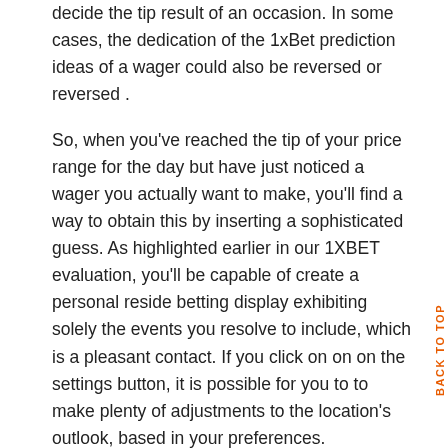decide the tip result of an occasion. In some cases, the dedication of the 1xBet prediction ideas of a wager could also be reversed or reversed .
So, when you've reached the tip of your price range for the day but have just noticed a wager you actually want to make, you'll find a way to obtain this by inserting a sophisticated guess. As highlighted earlier in our 1XBET evaluation, you'll be capable of create a personal reside betting display exhibiting solely the events you resolve to include, which is a pleasant contact. If you click on on on the settings button, it is possible for you to to make plenty of adjustments to the location's outlook, based in your preferences.
There are VIP levels of xBet's Casino Loyalty Program,